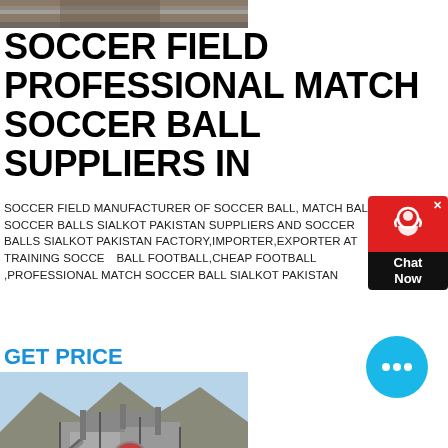[Figure (photo): Top partial photo strip of outdoor/landscape scene]
SOCCER FIELD PROFESSIONAL MATCH SOCCER BALL SUPPLIERS IN
SOCCER FIELD MANUFACTURER OF SOCCER BALL, MATCH BALLS SOCCER BALLS SIALKOT PAKISTAN SUPPLIERS AND SOCCER BALLS SIALKOT PAKISTAN FACTORY,IMPORTER,EXPORTER AT TRAINING SOCCER BALL FOOTBALL,CHEAP FOOTBALL ,PROFESSIONAL MATCH SOCCER BALL SIALKOT PAKISTAN
[Figure (other): Chat Now widget with red top and dark bottom, showing headset/person icon]
GET PRICE
[Figure (photo): Industrial machinery/plant equipment photo, outdoor setting with mountains]
[Figure (other): Blue circular chat bubble icon with ellipsis dots]